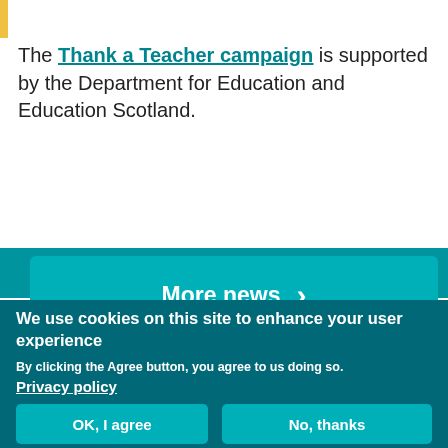[Figure (other): Yellow vertical bar accent at top left]
The Thank a Teacher campaign is supported by the Department for Education and Education Scotland.
[Figure (other): Teal 'More news' button with right-pointing chevron]
We use cookies on this site to enhance your user experience
By clicking the Agree button, you agree to us doing so.
Privacy policy
OK, I agree
No, thanks